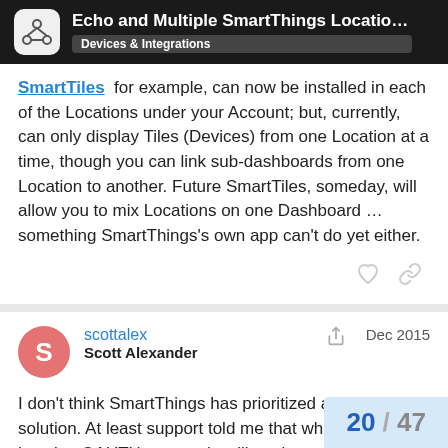Echo and Multiple SmartThings Locations (H... | Devices & Integrations
SmartTiles for example, can now be installed in each of the Locations under your Account; but, currently, can only display Tiles (Devices) from one Location at a time, though you can link sub-dashboards from one Location to another. Future SmartTiles, someday, will allow you to mix Locations on one Dashboard … something SmartThings's own app can't do yet either.
scottalex
Scott Alexander
Dec 2015
I don't think SmartThings has prioritized a proper solution. At least support told me that while multiple location OAUTH support is still on the radar "I wouldn't hold out for it on the short term".
However Account Sharing may enable an a...
20 / 47